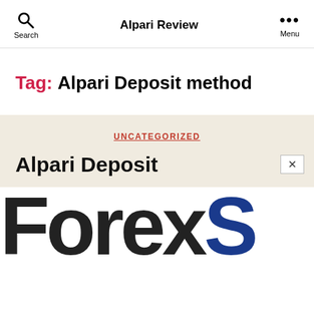Search   Alpari Review   Menu
Tag: Alpari Deposit method
UNCATEGORIZED
Alpari Deposit
[Figure (screenshot): Large bold text reading 'ForexS' where 'Forex' is in dark/black and 'S' is in dark blue, representing a website logo or banner cropped at the bottom of the page]